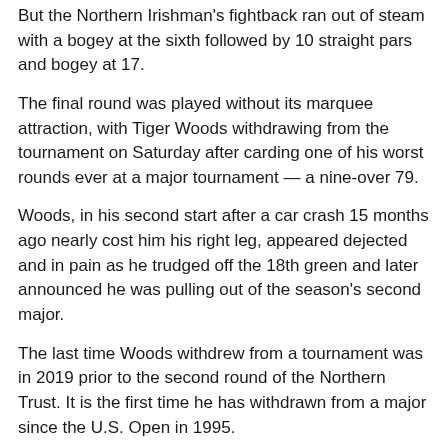But the Northern Irishman's fightback ran out of steam with a bogey at the sixth followed by 10 straight pars and bogey at 17.
The final round was played without its marquee attraction, with Tiger Woods withdrawing from the tournament on Saturday after carding one of his worst rounds ever at a major tournament — a nine-over 79.
Woods, in his second start after a car crash 15 months ago nearly cost him his right leg, appeared dejected and in pain as he trudged off the 18th green and later announced he was pulling out of the season's second major.
The last time Woods withdrew from a tournament was in 2019 prior to the second round of the Northern Trust. It is the first time he has withdrawn from a major since the U.S. Open in 1995.
(Reporting by Steve Keating in Tulsa; Editing by Ken Ferris and Clare Fallon)